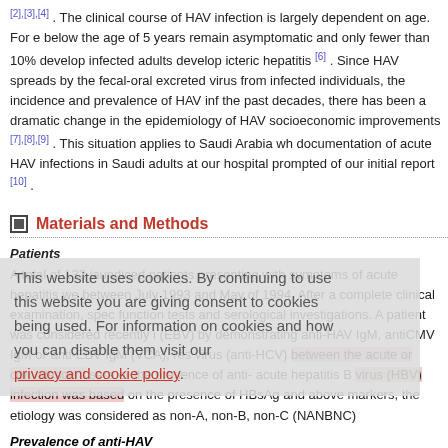[2],[3],[4] . The clinical course of HAV infection is largely dependent on age. For e below the age of 5 years remain asymptomatic and only fewer than 10% develop infected adults develop icteric hepatitis [6] . Since HAV spreads by the fecal-oral excreted virus from infected individuals, the incidence and prevalence of HAV inf the past decades, there has been a dramatic change in the epidemiology of HAV socioeconomic improvements [7],[8],[9] . This situation applies to Saudi Arabia wh documentation of acute HAV infections in Saudi adults at our hospital prompted of our initial report [10] .
Materials and Methods
Patients
A total of 133 jaundiced patients presenting with symptoms of acute hepatitis we between July 1993 and May of 1994. After a complete clinical examination, spec function tests and serological investigations. A patient was considered recently i (EBV) by demonstrating anti-HAV IgM, antiCMV IgM or anti-EBV IgM (VCA), res virus (anti-HCV) between the acute or convalescent sera or the presence of anti- acute hepatitis B virus (HBV) infection was based on the presence of HBsAg and above markers, the etiology was considered as non-A, non-B, non-C (NANBNC)
Prevalence of anti-HAV